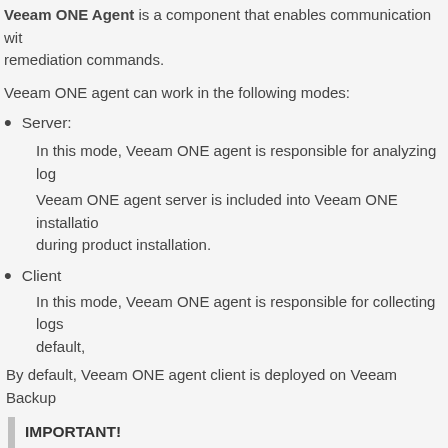Veeam ONE Agent is a component that enables communication with remediation commands.
Veeam ONE agent can work in the following modes:
Server:
In this mode, Veeam ONE agent is responsible for analyzing log
Veeam ONE agent server is included into Veeam ONE installation during product installation.
Client
In this mode, Veeam ONE agent is responsible for collecting logs default,
By default, Veeam ONE agent client is deployed on Veeam Backup
IMPORTANT!